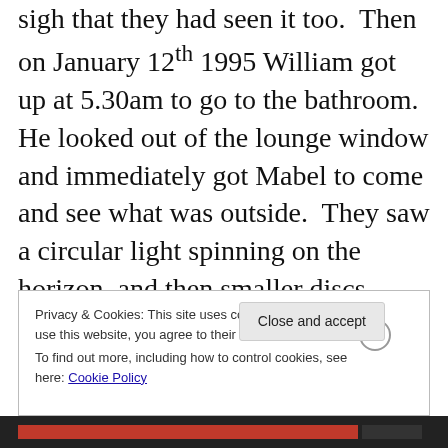sigh that they had seen it too.  Then on January 12th 1995 William got up at 5.30am to go to the bathroom.  He looked out of the lounge window and immediately got Mabel to come and see what was outside.  They saw a circular light spinning on the horizon, and then smaller discs going round the bigger one.  They then seemed to fly off south, out of sight.  The Bestalls had been reluctant to mention their sightings until a local nurse came forward with a similar report, and William decided to back her story up with
Privacy & Cookies: This site uses cookies. By continuing to use this website, you agree to their use.
To find out more, including how to control cookies, see here: Cookie Policy
Close and accept